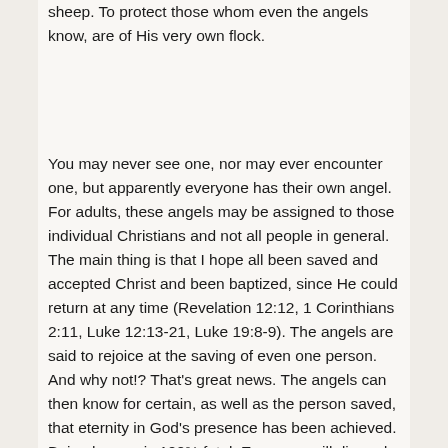sheep. To protect those whom even the angels know, are of His very own flock.
You may never see one, nor may ever encounter one, but apparently everyone has their own angel. For adults, these angels may be assigned to those individual Christians and not all people in general. The main thing is that I hope all been saved and accepted Christ and been baptized, since He could return at any time (Revelation 12:12, 1 Corinthians 2:11, Luke 12:13-21, Luke 19:8-9). The angels are said to rejoice at the saving of even one person. And why not!? That's great news. The angels can then know for certain, as well as the person saved, that eternity in God's presence has been achieved. Being human is 100% fatal. Everyone will die and face judgment and “The secrets of [all] men [and